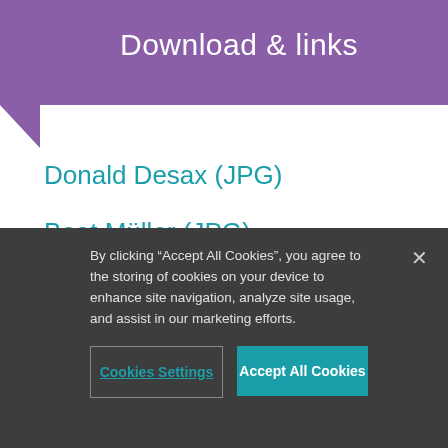Download & links
Donald Desax (JPG)
Beat Müller (JPG)
Media Release (PDF)
Fact sheet (PDF)
By clicking “Accept All Cookies”, you agree to the storing of cookies on your device to enhance site navigation, analyze site usage, and assist in our marketing efforts.
Cookies Settings
Accept All Cookies